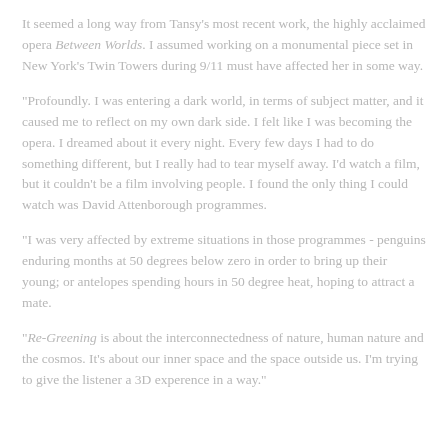It seemed a long way from Tansy's most recent work, the highly acclaimed opera Between Worlds.  I assumed working on a monumental piece set in New York's Twin Towers during 9/11 must have affected her in some way.
"Profoundly.  I was entering a dark world, in terms of subject matter, and it caused me to reflect on my own dark side.  I felt like I was becoming the opera.  I dreamed about it every night.  Every few days I had to do something different, but I really had to tear myself away.  I'd watch a film, but it couldn't be a film involving people.  I found the only thing I could watch was David Attenborough programmes.
"I was very affected by extreme situations in those programmes - penguins enduring months at 50 degrees below zero in order to bring up their young; or antelopes spending hours in 50 degree heat, hoping to attract a mate.
"Re-Greening is about the interconnectedness of nature, human nature and the cosmos.  It's about our inner space and the space outside us.  I'm trying to give the listener a 3D experence in a way."